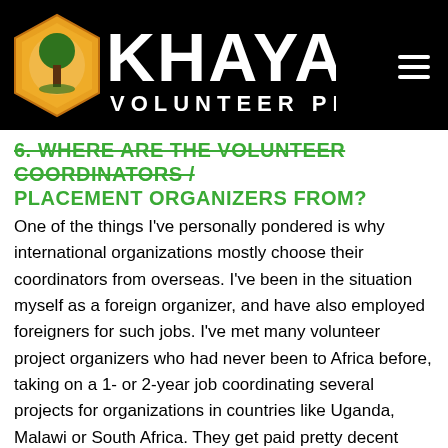[Figure (logo): Khaya Volunteer Projects logo with hexagonal icon containing a tree and orange/yellow coloring, white text reading KHAYA VOLUNTEER PROJECTS on black background]
6. WHERE ARE THE VOLUNTEER COORDINATORS / PLACEMENT ORGANIZERS FROM?
One of the things I've personally pondered is why international organizations mostly choose their coordinators from overseas. I've been in the situation myself as a foreign organizer, and have also employed foreigners for such jobs. I've met many volunteer project organizers who had never been to Africa before, taking on a 1- or 2-year job coordinating several projects for organizations in countries like Uganda, Malawi or South Africa. They get paid pretty decent European salaries with accommodation included – and cost as much as 4 or more local staff members. Locals who would be better equipped to coordinate the tasks and activities of the volunteers in their own communities are often overlooked.